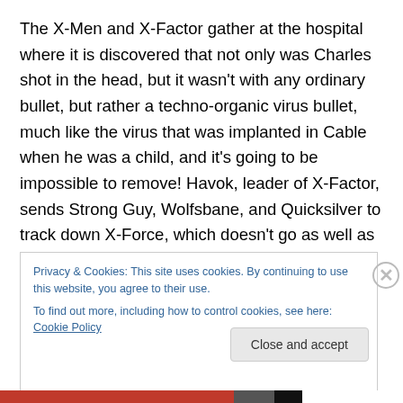The X-Men and X-Factor gather at the hospital where it is discovered that not only was Charles shot in the head, but it wasn't with any ordinary bullet, but rather a techno-organic virus bullet, much like the virus that was implanted in Cable when he was a child, and it's going to be impossible to remove! Havok, leader of X-Factor, sends Strong Guy, Wolfsbane, and Quicksilver to track down X-Force, which doesn't go as well as they had hoped when X-Force beats a hasty retreat. They are then joined by
Privacy & Cookies: This site uses cookies. By continuing to use this website, you agree to their use.
To find out more, including how to control cookies, see here: Cookie Policy